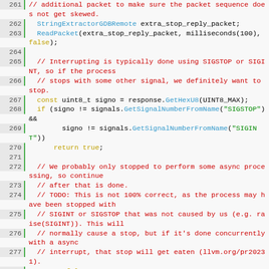[Figure (screenshot): Source code listing lines 261-281 in C++ showing GDB remote client code with syntax highlighting. Line numbers on left, green vertical bar separator, code on right with comments in red, keywords in yellow/orange, function names in blue, string literals in green.]